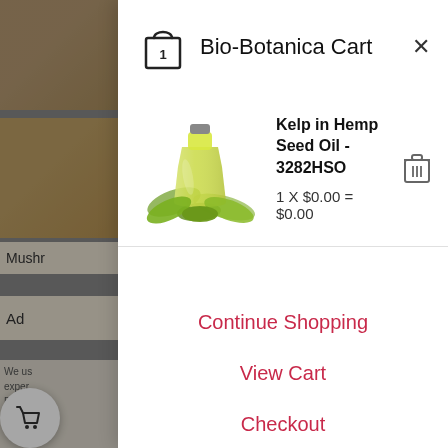Bio-Botanica Cart
Kelp in Hemp Seed Oil - 3282HSO
1 X $0.00 = $0.00
Continue Shopping
View Cart
Checkout